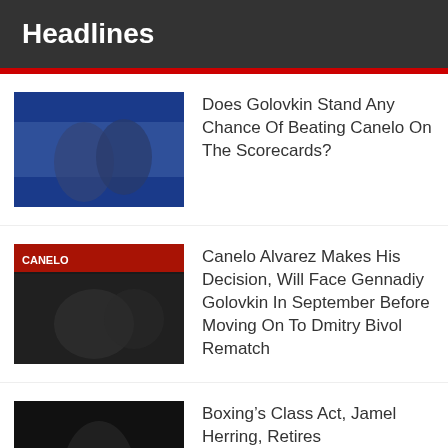Headlines
Does Golovkin Stand Any Chance Of Beating Canelo On The Scorecards?
Canelo Alvarez Makes His Decision, Will Face Gennadiy Golovkin In September Before Moving On To Dmitry Bivol Rematch
Boxing’s Class Act, Jamel Herring, Retires
Nunez Decisions Fierro In High Octane Affair